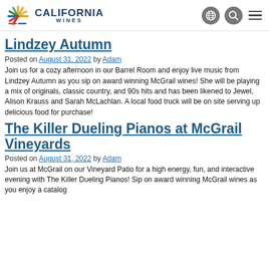California Wines
Lindzey Autumn
Posted on August 31, 2022 by Adam
Join us for a cozy afternoon in our Barrel Room and enjoy live music from Lindzey Autumn as you sip on award winning McGrail wines! She will be playing a mix of originals, classic country, and 90s hits and has been likened to Jewel, Alison Krauss and Sarah McLachlan. A local food truck will be on site serving up delicious food for purchase!
The Killer Dueling Pianos at McGrail Vineyards
Posted on August 31, 2022 by Adam
Join us at McGrail on our Vineyard Patio for a high energy, fun, and interactive evening with The Killer Dueling Pianos! Sip on award winning McGrail wines as you enjoy a catalog